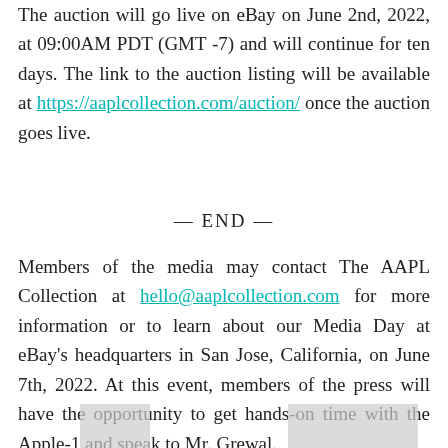The auction will go live on eBay on June 2nd, 2022, at 09:00AM PDT (GMT -7) and will continue for ten days. The link to the auction listing will be available at https://aaplcollection.com/auction/ once the auction goes live.
— END —
Members of the media may contact The AAPL Collection at hello@aaplcollection.com for more information or to learn about our Media Day at eBay's headquarters in San Jose, California, on June 7th, 2022. At this event, members of the press will have the opportunity to get hands-on time with the Apple-1 and speak to Mr. Grewal.
[Figure (photo): Partial images of what appear to be Apple-1 related items at the bottom of the page]